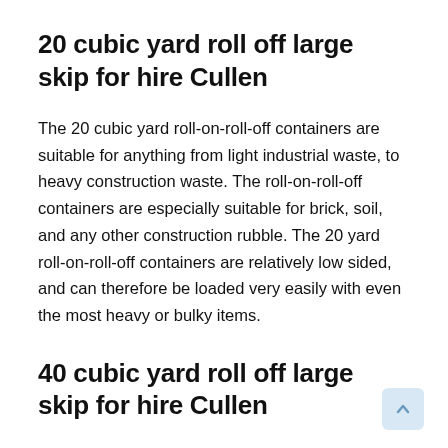20 cubic yard roll off large skip for hire Cullen
The 20 cubic yard roll-on-roll-off containers are suitable for anything from light industrial waste, to heavy construction waste. The roll-on-roll-off containers are especially suitable for brick, soil, and any other construction rubble. The 20 yard roll-on-roll-off containers are relatively low sided, and can therefore be loaded very easily with even the most heavy or bulky items.
40 cubic yard roll off large skip for hire Cullen